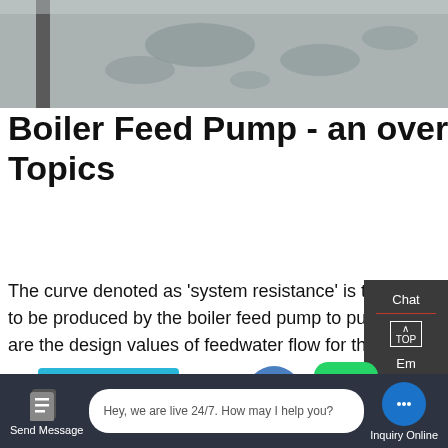[Figure (photo): Top photo showing industrial boiler/pump surface with water stains or wet marks on a metallic surface, with a vertical pipe visible on the left]
Boiler Feed Pump - an overview | ScienceDirect Topics
The curve denoted as 'system resistance' is the relationship between feedwater flow and the head that has to be produced by the boiler feed pump to pump the feedwater into the boiler. Also shown in the diagram are the design values of feedwater flow for the turbine plant, boiler plant and feed pump itself.
[Figure (photo): Bottom industrial photo showing green and teal colored pipes and industrial equipment]
Chat
Em
Contact
Learn More
Contact us now!
Hey, we are live 24/7. How may I help you?
Send Message
Inquiry Online